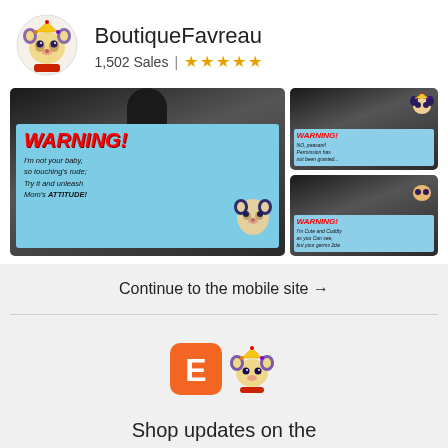[Figure (logo): BoutiqueFavreau shop logo - cartoon bear/mouse character with crown]
BoutiqueFavreau
1,502 Sales | ★★★★★
[Figure (photo): Product images showing WARNING! stroller tags with cartoon character. Main image: large tag reading 'WARNING! I'm not your baby, so touching's rude; Try it and unleash Mom's ATTITUDE!' with cartoon dog. Side images: two smaller stroller tags with similar WARNING! designs.]
Continue to the mobile site →
[Figure (logo): Etsy E logo (orange square with white E) alongside cartoon bear/mouse mascot with crown]
Shop updates on the